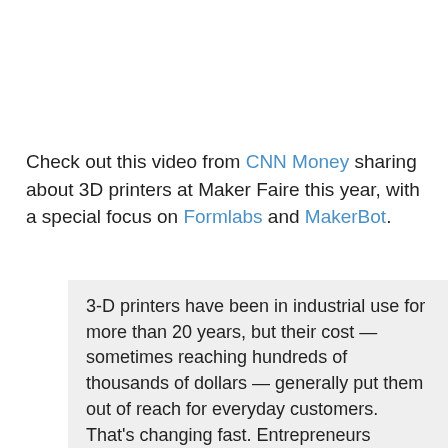Check out this video from CNN Money sharing about 3D printers at Maker Faire this year, with a special focus on Formlabs and MakerBot.
3-D printers have been in industrial use for more than 20 years, but their cost — sometimes reaching hundreds of thousands of dollars — generally put them out of reach for everyday customers. That's changing fast. Entrepreneurs devoted to the "democratization" of these devices are building cheaper versions with rapidly falling price tags. Hobbyists are testing out at-home 3-D printers and chefs are giving them a whirl in the kitchen, using the technology to